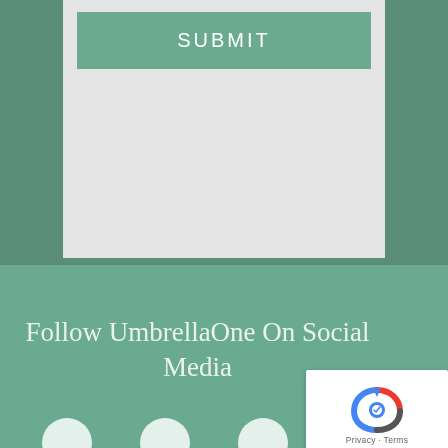SUBMIT
Follow UmbrellaOne On Social Media
[Figure (other): reCAPTCHA badge with Privacy and Terms links]